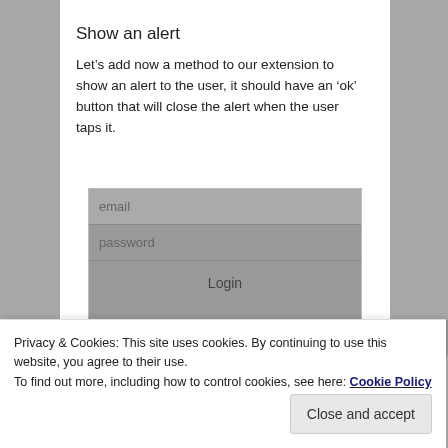Show an alert
Let's add now a method to our extension to show an alert to the user, it should have an 'ok' button that will close the alert when the user taps it.
[Figure (screenshot): Mobile app UI mockup showing email field, password field, Login button, Create account button, and a white alert popup dialog at the bottom of the form.]
Privacy & Cookies: This site uses cookies. By continuing to use this website, you agree to their use.
To find out more, including how to control cookies, see here: Cookie Policy
Close and accept